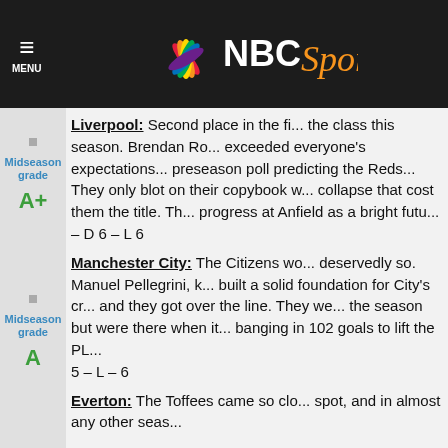NBC Sports - MENU
Liverpool: Second place in the fi... the class this season. Brendan Ro... exceeded everyone's expectations... preseason poll predicting the Reds... They only blot on their copybook w... collapse that cost them the title. Th... progress at Anfield as a bright futu... – D 6 – L 6
Midseason grade A+
Manchester City: The Citizens wo... deservedly so. Manuel Pellegrini, k... built a solid foundation for City's cr... and they got over the line. They we... the season but were there when it... banging in 102 goals to lift the PL... 5 – L – 6
Midseason grade A
Everton: The Toffees came so clo... spot, and in almost any other seas...